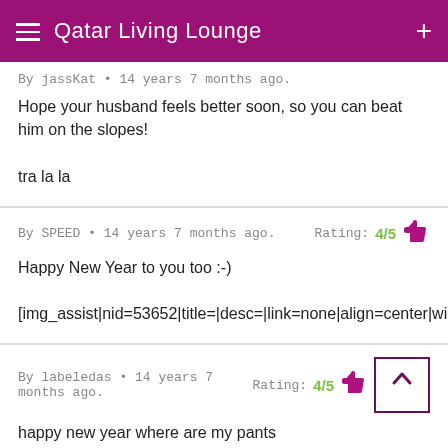Qatar Living Lounge
By jassKat • 14 years 7 months ago.
Hope your husband feels better soon, so you can beat him on the slopes!

tra la la
By SPEED • 14 years 7 months ago.  Rating: 4/5
Happy New Year to you too :-)

[img_assist|nid=53652|title=|desc=|link=none|align=center|width=
By labeledas • 14 years 7 months ago.  Rating: 4/5
happy new year where are my pants
By diamor
Right b...  ...loving